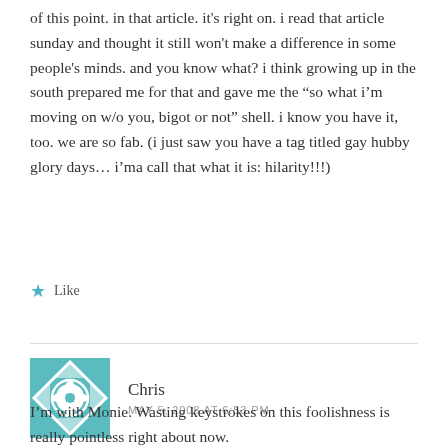of this point. In that article. it's right on. i read that article sunday and thought it still won't make a difference in some people's minds. and you know what? i think growing up in the south prepared me for that and gave me the “so what i’m moving on w/o you, bigot or not” shell. i know you have it, too. we are so fab. (i just saw you have a tag titled gay hubby glory days… i’ma call that what it is: hilarity!!!)
Like
Chris
MAY 5, 2008 AT 6:53 PM
I’m with Monie. Wasting keystrokes on this foolishness is really pointless right about now.